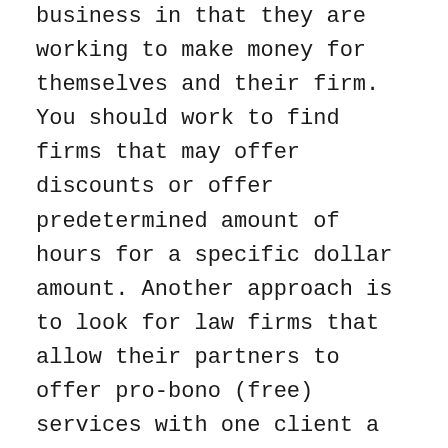business in that they are working to make money for themselves and their firm. You should work to find firms that may offer discounts or offer predetermined amount of hours for a specific dollar amount. Another approach is to look for law firms that allow their partners to offer pro-bono (free) services with one client a year. You can also leverage law clinics offered by universities that have law schools. These programs provide free services with the work performed by law students but supervised by credentialed attorneys.
Beyond helping you with basic transactions such as company formation and contracts, your lawyer should also be your strategic partner.